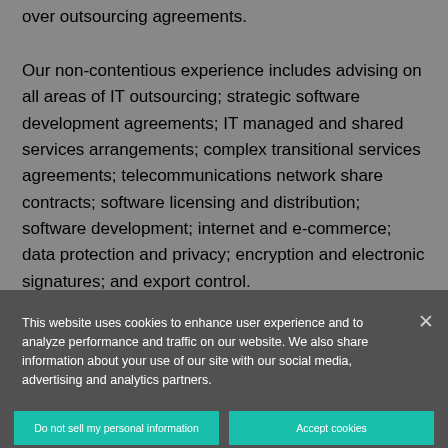over outsourcing agreements.
Our non-contentious experience includes advising on all areas of IT outsourcing; strategic software development agreements; IT managed and shared services arrangements; complex transitional services agreements; telecommunications network share contracts; software licensing and distribution; software development; internet and e-commerce; data protection and privacy; encryption and electronic signatures; and export control.
[Figure (photo): Dark background image showing partial text 'The GDPR Guide' in italic serif font over a dark teal/green photographic background.]
This website uses cookies to enhance user experience and to analyze performance and traffic on our website. We also share information about your use of our site with our social media, advertising and analytics partners.